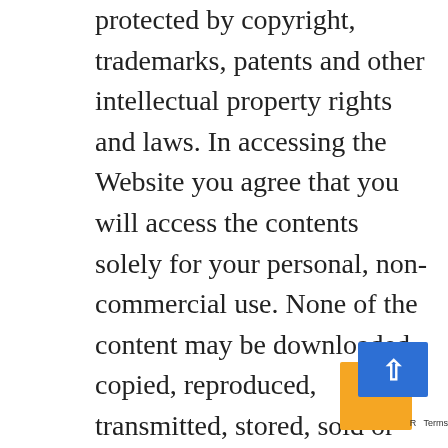protected by copyright, trademarks, patents and other intellectual property rights and laws. In accessing the Website you agree that you will access the contents solely for your personal, non-commercial use. None of the content may be downloaded, copied, reproduced, transmitted, stored, sold or distributed without the prior written consent of the copyright holder. This excludes the downloading, copying and/or printing of pages of the Website for personal, non-commercial
[Figure (other): A scroll-to-top widget with an orange rectangle and a blue rectangle overlapping, with an upward-pointing arrow on the blue section, and partial text 'Ramp Terms' at the bottom right.]